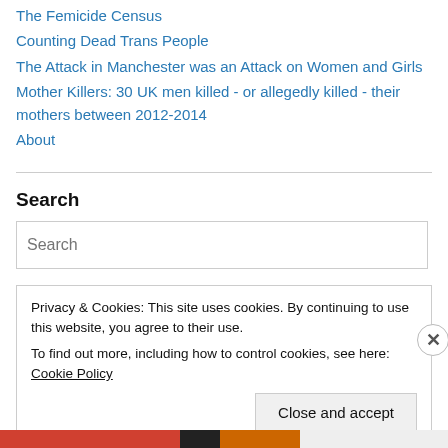The Femicide Census
Counting Dead Trans People
The Attack in Manchester was an Attack on Women and Girls
Mother Killers: 30 UK men killed - or allegedly killed - their mothers between 2012-2014
About
Search
Search
Privacy & Cookies: This site uses cookies. By continuing to use this website, you agree to their use.
To find out more, including how to control cookies, see here: Cookie Policy
Close and accept